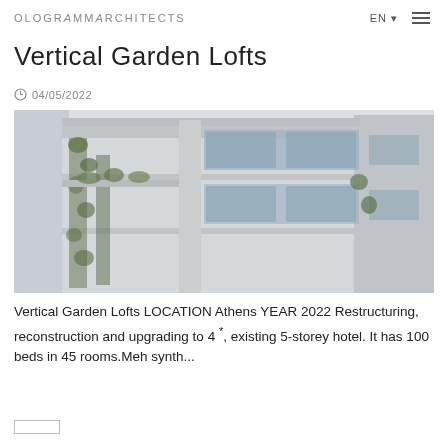OLOGRAMMAARCHITECTS   EN ▼  ☰
Vertical Garden Lofts
🕐 04/05/2022
[Figure (photo): Exterior rendering of a modern multi-storey building with vertical gardens, glass balconies, and concrete facade. Green plants trailing down the building levels.]
Vertical Garden Lofts LOCATION Athens YEAR 2022 Restructuring, reconstruction and upgrading to 4 *, existing 5-storey hotel. It has 100 beds in 45 rooms.Meh synth...